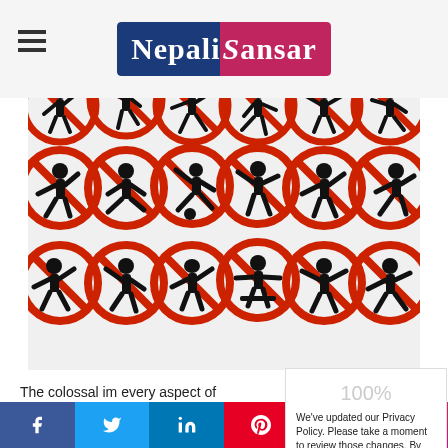Nepali Sansar
[Figure (illustration): Grid of sports prohibition signs — red circle-slash symbols over silhouette figures playing various sports including archery, football, gymnastics, javelin, etc.]
The colossal im... every aspect of ...
With the Nepali... lockdown and tr...
We've updated our Privacy Policy. Please take a moment to review those changes. By clicking I Agree, You Agree to Nepalisansar Privacy Policy and Cookie Policy  Cookie settings  AGREE